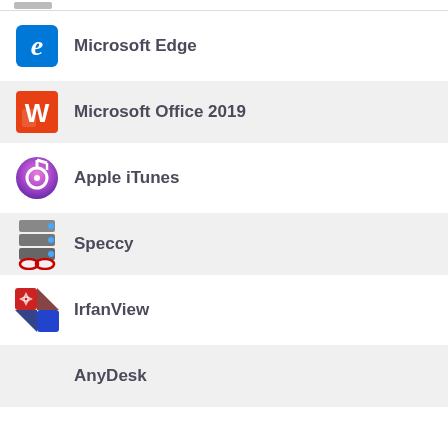Microsoft Edge
Microsoft Office 2019
Apple iTunes
Speccy
IrfanView
AnyDesk
More Must Have